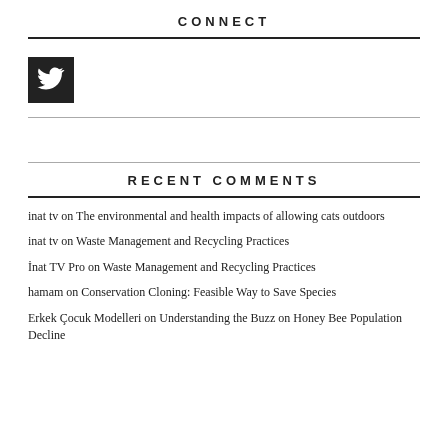CONNECT
[Figure (logo): Twitter bird icon in white on dark square background]
RECENT COMMENTS
inat tv on The environmental and health impacts of allowing cats outdoors
inat tv on Waste Management and Recycling Practices
İnat TV Pro on Waste Management and Recycling Practices
hamam on Conservation Cloning: Feasible Way to Save Species
Erkek Çocuk Modelleri on Understanding the Buzz on Honey Bee Population Decline